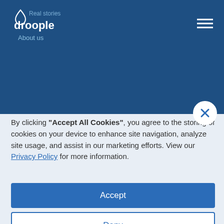Real stories | droople | About us
By clicking "Accept All Cookies", you agree to the storing of cookies on your device to enhance site navigation, analyze site usage, and assist in our marketing efforts. View our Privacy Policy for more information.
Accept
Deny
Preferences